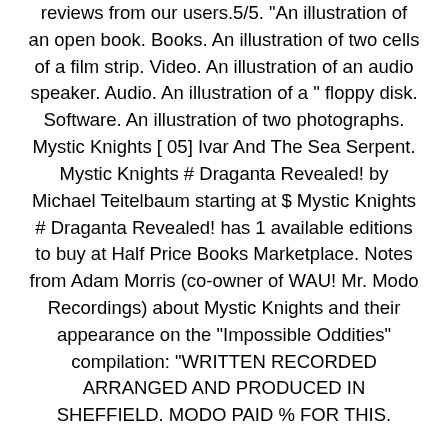reviews from our users.5/5. "An illustration of an open book. Books. An illustration of two cells of a film strip. Video. An illustration of an audio speaker. Audio. An illustration of a " floppy disk. Software. An illustration of two photographs. Mystic Knights [ 05] Ivar And The Sea Serpent. Mystic Knights # Draganta Revealed! by Michael Teitelbaum starting at $ Mystic Knights # Draganta Revealed! has 1 available editions to buy at Half Price Books Marketplace. Notes from Adam Morris (co-owner of WAU! Mr. Modo Recordings) about Mystic Knights and their appearance on the "Impossible Oddities" compilation: "WRITTEN RECORDED ARRANGED AND PRODUCED IN SHEFFIELD. MODO PAID % FOR THIS.
38 Mystic Knights of Jewel Ekklesia38 2 　　KoC xRTZWH3Mww /05/06(　) ID:5g8W9akI 　　. Mystic Knights of Tir Na Nog is an Irish/American